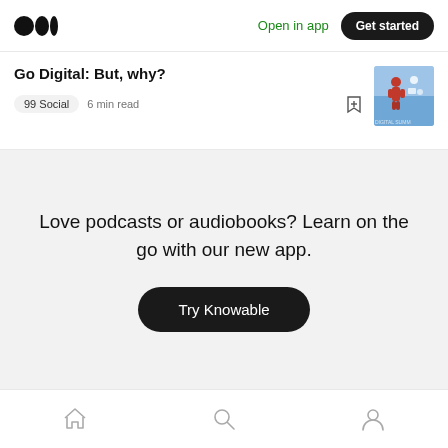Open in app  Get started
Go Digital: But, why?
99 Social  6 min read
Love podcasts or audiobooks? Learn on the go with our new app.
Try Knowable
Home  Search  Profile